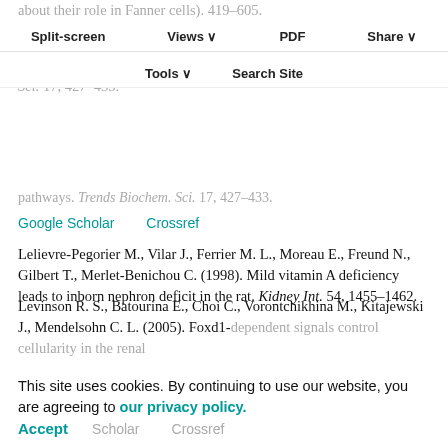about their role in Fanner cells). 419-605.
Split-screen  Views  PDF  Share  Tools  Search Site
Leid M., Kastner P., Chambon P. (1992). Multiplicity generates diversity in the retinoic acid signalling pathways. Trends Biochem. Sci. 17, 427-433.
Lelievre-Pegorier M., Vilar J., Ferrier M. L., Moreau E., Freund N., Gilbert T., Merlet-Benichou C. (1998). Mild vitamin A deficiency leads to inborn nephron deficit in the rat. Kidney Int. 54, 1455-1462.
Levinson R. S., Batourina E., Choi C., Vorontchikhina M., Kitajewski J., Mendelsohn C. L. (2005). Foxd1-dependent signals control cellularity in the renal
This site uses cookies. By continuing to use our website, you are agreeing to our privacy policy. Accept